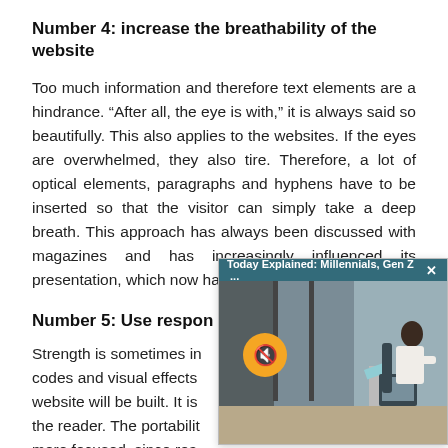Number 4: increase the breathability of the website
Too much information and therefore text elements are a hindrance. “After all, the eye is with,” it is always said so beautifully. This also applies to the websites. If the eyes are overwhelmed, they also tire. Therefore, a lot of optical elements, paragraphs and hyphens have to be inserted so that the visitor can simply take a deep breath. This approach has always been discussed with magazines and has increasingly influenced its presentation, which now has to be applied to websites.
Number 5: Use respon…
Strength is sometimes in… codes and visual effects … website will be built. It is … the reader. The portabilit… more focused, since rea… more frequently due to t…
[Figure (screenshot): Popup video player overlay titled 'Today Explained: Millennials, Gen Z ...' with a close button (x), showing an office scene with a person at a desk with a monitor. A muted (orange circle with mute icon) play button is visible on the left side of the video.]